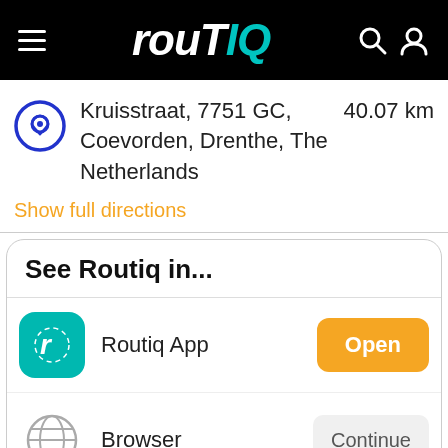routIQ
Kruisstraat, 7751 GC, Coevorden, Drenthe, The Netherlands  40.07 km
Show full directions
See Routiq in...
Routiq App
Browser